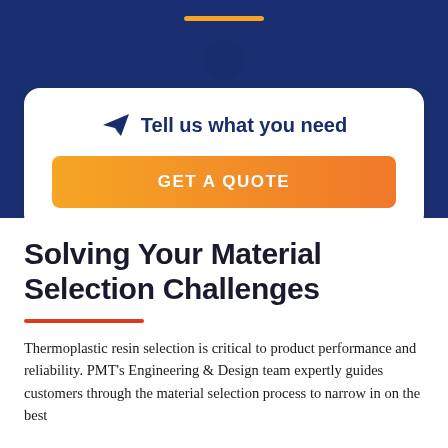[Figure (photo): Dark blue textured background with bolt hardware details, orange decorative bar at top center]
Tell us what you need
GET A QUOTE
Solving Your Material Selection Challenges
Thermoplastic resin selection is critical to product performance and reliability. PMT's Engineering & Design team expertly guides customers through the material selection process to narrow in on the best